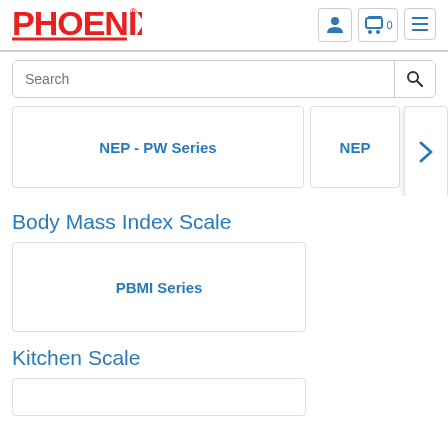[Figure (logo): Phoenix logo in red bold text with registered trademark symbol]
Navigation icons: user account, shopping cart (0 items), and hamburger menu
Search
NEP - PW Series
NEP
Body Mass Index Scale
PBMI Series
Kitchen Scale